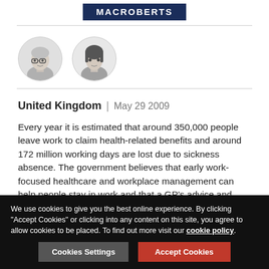MACROBERTS
[Figure (photo): Two circular author portrait photos side by side, black and white. Left: woman with glasses and short light hair. Right: woman with dark hair.]
United Kingdom | May 29 2009
Every year it is estimated that around 350,000 people leave work to claim health-related benefits and around 172 million working days are lost due to sickness absence. The government believes that early work-focused healthcare and workplace management can help people stay in work and that a GP's advice and guidance can be pivotal to an individual's
We use cookies to give you the best online experience. By clicking "Accept Cookies" or clicking into any content on this site, you agree to allow cookies to be placed. To find out more visit our cookie policy.
Cookies Settings
Accept Cookies